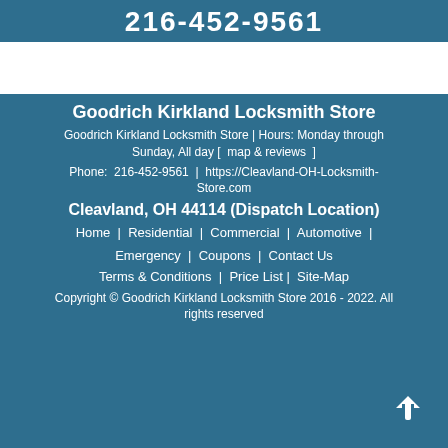216-452-9561
Goodrich Kirkland Locksmith Store
Goodrich Kirkland Locksmith Store | Hours: Monday through Sunday, All day [  map & reviews  ]
Phone:  216-452-9561  |  https://Cleavland-OH-Locksmith-Store.com
Cleavland, OH 44114 (Dispatch Location)
Home  |  Residential  |  Commercial  |  Automotive  |  Emergency  |  Coupons  |  Contact Us
Terms & Conditions  |  Price List |  Site-Map
Copyright © Goodrich Kirkland Locksmith Store 2016 - 2022. All rights reserved